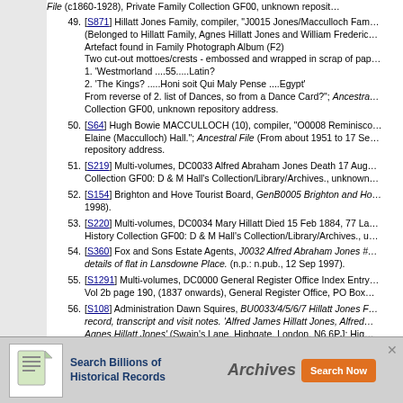[S871] Hillatt Jones Family, compiler, "J0015 Jones/Macculloch Family..." (Belonged to Hillatt Family, Agnes Hillatt Jones and William Frederick...) Artefact found in Family Photograph Album (F2) Two cut-out mottoes/crests - embossed and wrapped in scrap of pap... 1. 'Westmorland ....55.....Latin? 2. 'The Kings? .....Honi soit Qui Maly Pense ....Egypt' From reverse of 2. list of Dances, so from a Dance Card?"; Ancestral... Collection GF00, unknown repository address.
[S64] Hugh Bowie MACCULLOCH (10), compiler, "O0008 Reminisce... Elaine (Macculloch) Hall."; Ancestral File (From about 1951 to 17 Se... repository address.
[S219] Multi-volumes, DC0033 Alfred Abraham Jones Death 17 Aug... Collection GF00: D & M Hall's Collection/Library/Archives., unknown...
[S154] Brighton and Hove Tourist Board, GenB0005 Brighton and Ho... 1998).
[S220] Multi-volumes, DC0034 Mary Hillatt Died 15 Feb 1884, 77 La... History Collection GF00: D & M Hall's Collection/Library/Archives., u...
[S360] Fox and Sons Estate Agents, J0032 Alfred Abraham Jones #... details of flat in Lansdowne Place. (n.p.: n.pub., 12 Sep 1997).
[S1291] Multi-volumes, DC0000 General Register Office Index Entry... Vol 2b page 190, (1837 onwards), General Register Office, PO Box...
[S108] Administration Dawn Squires, BU0033/4/5/6/7 Hillatt Jones F... record, transcript and visit notes. 'Alfred James Hillatt Jones, Alfred... Agnes Hillatt Jones' (Swain's Lane, Highgate, London, N6 6PJ; Hig... BU... no... 8.4.97. Bu...
[S...] ...papers (V...)